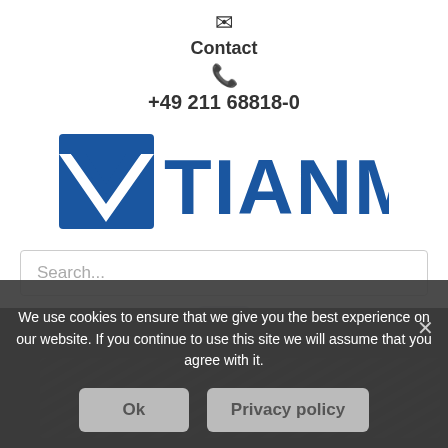Contact
+49 211 68818-0
[Figure (logo): TIANMA company logo in blue with checkmark icon]
Search...
[Figure (screenshot): Hamburger menu button with three horizontal lines on light blue background]
Europe
We use cookies to ensure that we give you the best experience on our website. If you continue to use this site we will assume that you agree with it.
Ok
Privacy policy